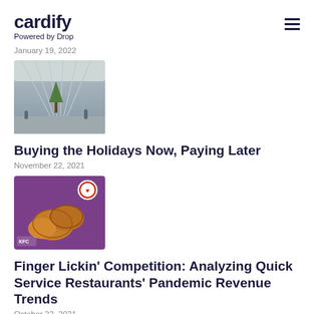cardify — Powered by Drop
January 19, 2022
[Figure (photo): Indoor shopping mall with glass ceiling and Christmas decorations]
Buying the Holidays Now, Paying Later
November 22, 2021
[Figure (photo): Fried chicken on purple background with reward/loyalty badge icon]
Finger Lickin' Competition: Analyzing Quick Service Restaurants' Pandemic Revenue Trends
October 22, 2021
[Figure (photo): Partial purple background image, partially cut off at bottom]